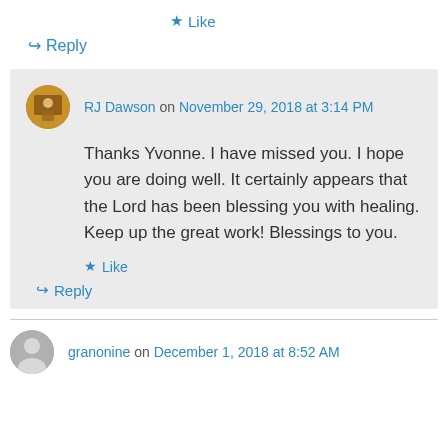★ Like
↪ Reply
RJ Dawson on November 29, 2018 at 3:14 PM
Thanks Yvonne. I have missed you. I hope you are doing well. It certainly appears that the Lord has been blessing you with healing. Keep up the great work! Blessings to you.
★ Like
↪ Reply
granonine on December 1, 2018 at 8:52 AM